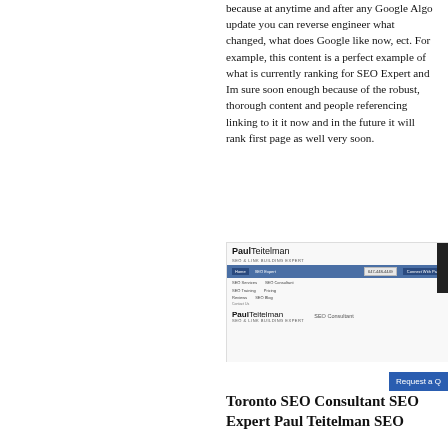because at anytime and after any Google Algo update you can reverse engineer what changed, what does Google like now, ect. For example, this content is a perfect example of what is currently ranking for SEO Expert and Im sure soon enough because of the robust, thorough content and people referencing linking to it it now and in the future it will rank first page as well very soon.
[Figure (screenshot): Screenshot of Paul Teitelman SEO Consultant website showing navigation menu with Home, SEO Expert links, phone number 647-448-4449, Connect With Paul button, and the Paul Teitelman SEO & Link Building Expert branding with SEO Consultant label.]
[Figure (screenshot): Request a Quote button in blue]
Toronto SEO Consultant SEO Expert Paul Teitelman SEO